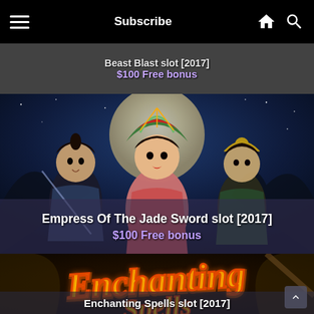Subscribe
Beast Blast slot [2017]
$100 Free bonus
[Figure (illustration): Empress Of The Jade Sword slot game promotional image showing three characters in traditional Asian attire against a moonlit background]
Empress Of The Jade Sword slot [2017]
$100 Free bonus
[Figure (illustration): Enchanting Spells slot game promotional image with stylized golden text on dark background with magical theme]
Enchanting Spells slot [2017]
$100 Free bonus